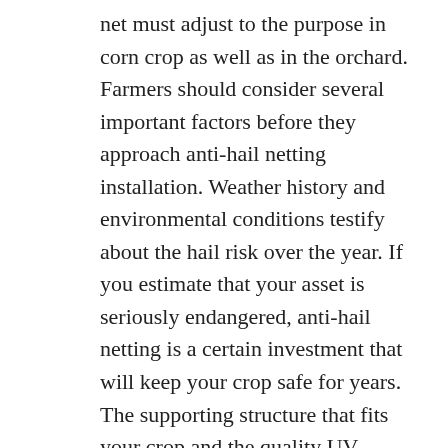net must adjust to the purpose in corn crop as well as in the orchard. Farmers should consider several important factors before they approach anti-hail netting installation. Weather history and environmental conditions testify about the hail risk over the year. If you estimate that your asset is seriously endangered, anti-hail netting is a certain investment that will keep your crop safe for years. The supporting structure that fits your crop and the quality UV-protected Polyethylene netting have been designed to transfer the load to the ground. The number of internal posts in the supporting structure differs according to the size of the crop. The netting is not stretchable and it will not bend under pressure, and enable ponds of hail to create load. Since there is little movement, the heavy wind will not affect the netting and move it from its place. Such sturdiness